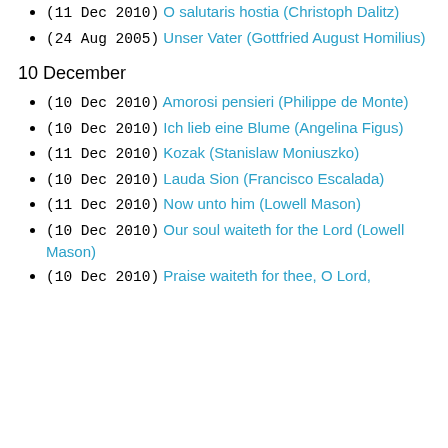(11 Dec 2010) O salutaris hostia (Christoph Dalitz)
(24 Aug 2005) Unser Vater (Gottfried August Homilius)
10 December
(10 Dec 2010) Amorosi pensieri (Philippe de Monte)
(10 Dec 2010) Ich lieb eine Blume (Angelina Figus)
(11 Dec 2010) Kozak (Stanislaw Moniuszko)
(10 Dec 2010) Lauda Sion (Francisco Escalada)
(11 Dec 2010) Now unto him (Lowell Mason)
(10 Dec 2010) Our soul waiteth for the Lord (Lowell Mason)
(10 Dec 2010) Praise waiteth for thee, O Lord,